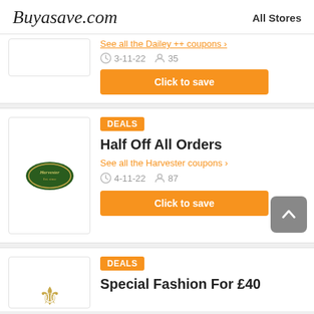Buyasave.com   All Stores
See all the Dailey++ coupons >
3-11-22   35
Click to save
DEALS
Half Off All Orders
See all the Harvester coupons >
4-11-22   87
Click to save
DEALS
Special Fashion For £40